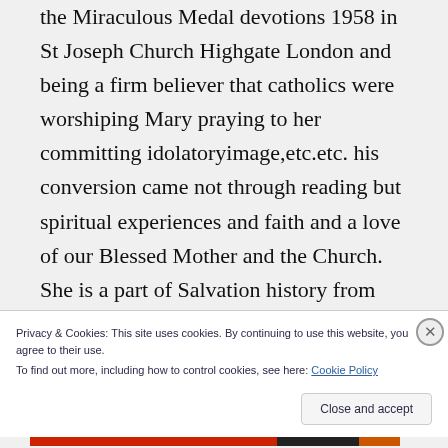the Miraculous Medal devotions 1958 in St Joseph Church Highgate London and being a firm believer that catholics were worshiping Mary praying to her committing idolatoryimage,etc.etc. his conversion came not through reading but spiritual experiences and faith and a love of our Blessed Mother and the Church. She is a part of Salvation history from
Privacy & Cookies: This site uses cookies. By continuing to use this website, you agree to their use. To find out more, including how to control cookies, see here: Cookie Policy